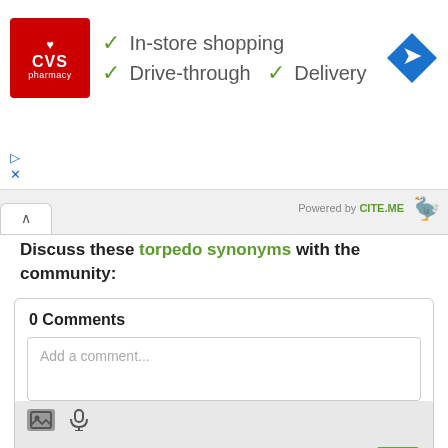[Figure (screenshot): CVS Pharmacy advertisement banner showing checkmarks for In-store shopping, Drive-through, and Delivery features with a navigation diamond icon]
Powered by CITE.ME
Discuss these torpedo synonyms with the community:
0 Comments
Add a comment...
Notify me of new comments via email.